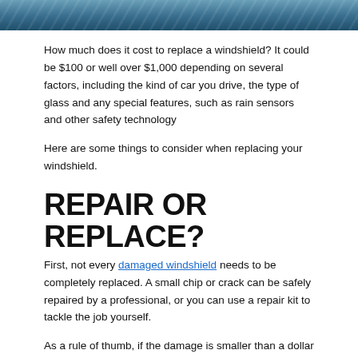[Figure (photo): Blue windshield or automotive glass photo at the top of the page]
How much does it cost to replace a windshield? It could be $100 or well over $1,000 depending on several factors, including the kind of car you drive, the type of glass and any special features, such as rain sensors and other safety technology
Here are some things to consider when replacing your windshield.
REPAIR OR REPLACE?
First, not every damaged windshield needs to be completely replaced. A small chip or crack can be safely repaired by a professional, or you can use a repair kit to tackle the job yourself.
As a rule of thumb, if the damage is smaller than a dollar bill, it probably can be repaired. However, this is only a guideline, so seek a pro’s advice if you’re unsure. Don’t delay! Minor damage can become major and require a total replacement.